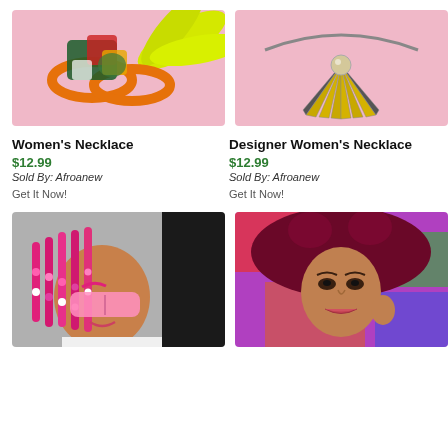[Figure (photo): Colorful beaded necklace with orange, green, red and multicolor fabric rings on a pink background with yellow fan]
[Figure (photo): Gold and silver fan-shaped pendant necklace with pearl bead on a pink background]
Women's Necklace
$12.99
Sold By: Afroanew
Get It Now!
Designer Women's Necklace
$12.99
Sold By: Afroanew
Get It Now!
[Figure (photo): Woman with pink box braids and beads, wearing oversized pink sunglasses, white outfit]
[Figure (photo): Woman with dark red/burgundy flowing hair in half-up buns style, colorful graffiti background]